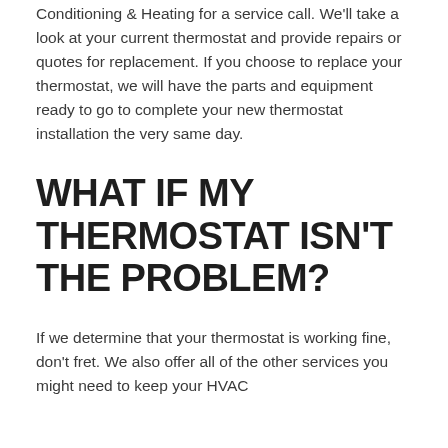Conditioning & Heating for a service call. We'll take a look at your current thermostat and provide repairs or quotes for replacement. If you choose to replace your thermostat, we will have the parts and equipment ready to go to complete your new thermostat installation the very same day.
WHAT IF MY THERMOSTAT ISN'T THE PROBLEM?
If we determine that your thermostat is working fine, don't fret. We also offer all of the other services you might need to keep your HVAC